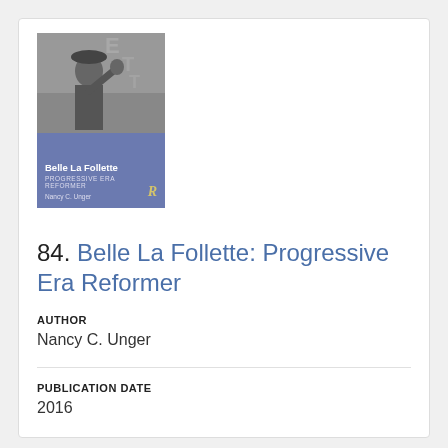[Figure (photo): Book cover of 'Belle La Follette: Progressive Era Reformer' by Nancy C. Unger, showing a black and white photograph of a woman with arm raised, published by Routledge.]
84. Belle La Follette: Progressive Era Reformer
AUTHOR
Nancy C. Unger
PUBLICATION DATE
2016